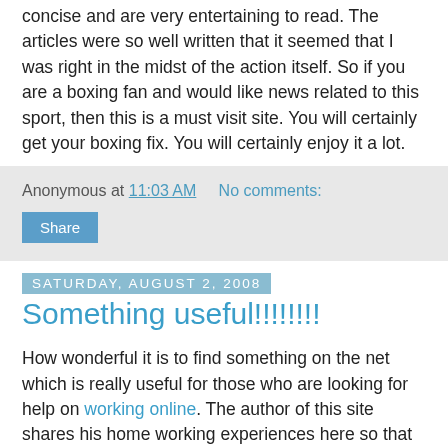concise and are very entertaining to read. The articles were so well written that it seemed that I was right in the midst of the action itself. So if you are a boxing fan and would like news related to this sport, then this is a must visit site. You will certainly get your boxing fix. You will certainly enjoy it a lot.
Anonymous at 11:03 AM   No comments:
Share
Saturday, August 2, 2008
Something useful!!!!!!!!
How wonderful it is to find something on the net which is really useful for those who are looking for help on working online. The author of this site shares his home working experiences here so that others can have an easier time setting up this type of business. I had stumbled across this site quiet by accident and discovered that it had many useful tips and hints which I could use in daily life to increase my